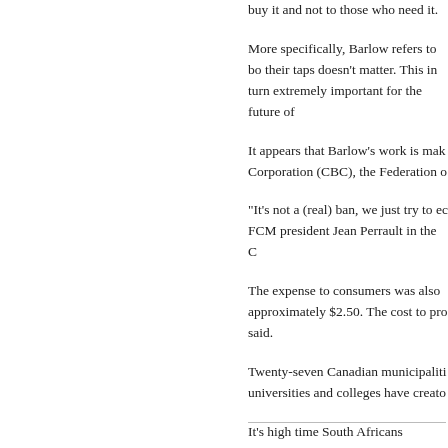buy it and not to those who need it.
More specifically, Barlow refers to bo their taps doesn't matter. This in turn extremely important for the future of
It appears that Barlow's work is mak Corporation (CBC), the Federation o
"It's not a (real) ban, we just try to ec FCM president Jean Perrault in the C
The expense to consumers was also approximately $2.50. The cost to pro said.
Twenty-seven Canadian municipaliti universities and colleges have creato
It's high time South Africans followed in much of South Africa. We're just b unlimited supplies of water, but it doe